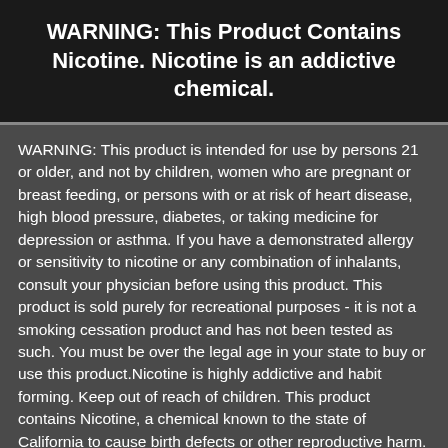WARNING: This Product Contains Nicotine. Nicotine is an addictive chemical.
WARNING: This product is intended for use by persons 21 or older, and not by children, women who are pregnant or breast feeding, or persons with or at risk of heart disease, high blood pressure, diabetes, or taking medicine for depression or asthma. If you have a demonstrated allergy or sensitivity to nicotine or any combination of inhalants, consult your physician before using this product. This product is sold purely for recreational purposes - it is not a smoking cessation product and has not been tested as such. You must be over the legal age in your state to buy or use this product.Nicotine is highly addictive and habit forming. Keep out of reach of children. This product contains Nicotine, a chemical known to the state of California to cause birth defects or other reproductive harm. Lithium-ion batteries are volatile. They may burn or explode with improper use. Do not use or charge with non-approved devices.Do not leave charging devices plugged into computers, laptops or wall units when not in use. Overuse of vaping devices may cause overheating, malfunction, and/or